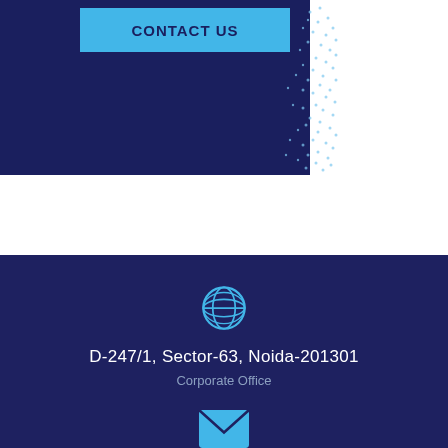[Figure (illustration): Dark navy blue banner with a cyan 'CONTACT US' button and a dotted/stippled pattern on the right side]
[Figure (illustration): Dark navy footer section with a globe icon, address text, corporate office label, and envelope icon]
D-247/1, Sector-63, Noida-201301
Corporate Office